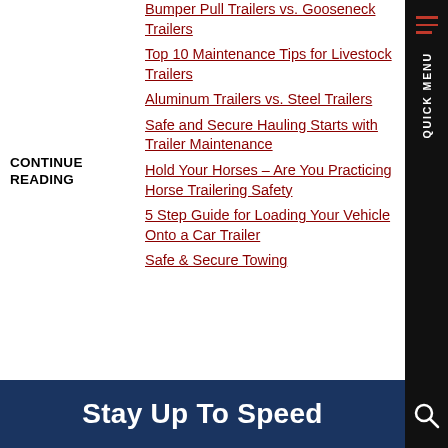CONTINUE READING
Bumper Pull Trailers vs. Gooseneck Trailers
Top 10 Maintenance Tips for Livestock Trailers
Aluminum Trailers vs. Steel Trailers
Safe and Secure Hauling Starts with Trailer Maintenance
Hold Your Horses – Are You Practicing Horse Trailering Safety
5 Step Guide for Loading Your Vehicle Onto a Car Trailer
Safe & Secure Towing
Stay Up To Speed